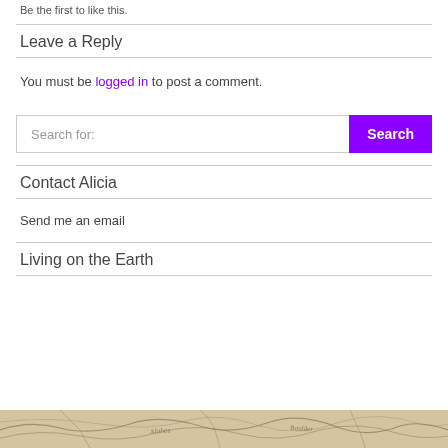Be the first to like this.
Leave a Reply
You must be logged in to post a comment.
[Figure (other): Search bar with text field 'Search for:' and purple Search button]
Contact Alicia
Send me an email
Living on the Earth
[Figure (illustration): Partial illustration of a map with beige/tan background, showing hand-drawn topographic or geographic lines]